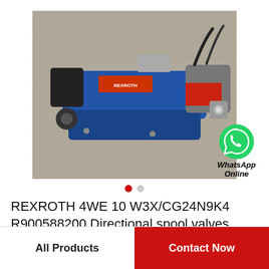[Figure (photo): A Rexroth 4WE 10 W3X/CG24N9K4 directional spool valve photographed on a concrete surface. The valve body is blue/dark blue, with a black solenoid on one end, gray body sections, a red accent panel, and black electrical cables connected at the top.]
[Figure (logo): WhatsApp green icon (speech bubble with phone handset) with text 'WhatsApp Online' below it in bold italic.]
REXROTH 4WE 10 W3X/CG24N9K4 R900588200 Directional spool valves
All Products
Contact Now